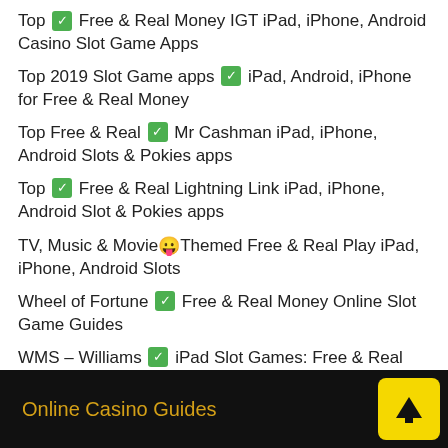Top ✅ Free & Real Money IGT iPad, iPhone, Android Casino Slot Game Apps
Top 2019 Slot Game apps ✅ iPad, Android, iPhone for Free & Real Money
Top Free & Real ✅ Mr Cashman iPad, iPhone, Android Slots & Pokies apps
Top ✅ Free & Real Lightning Link iPad, iPhone, Android Slot & Pokies apps
TV, Music & Movie 😛 Themed Free & Real Play iPad, iPhone, Android Slots
Wheel of Fortune ✅ Free & Real Money Online Slot Game Guides
WMS – Williams ✅ iPad Slot Games: Free & Real Play Casino Apps.
Online Casino Guides